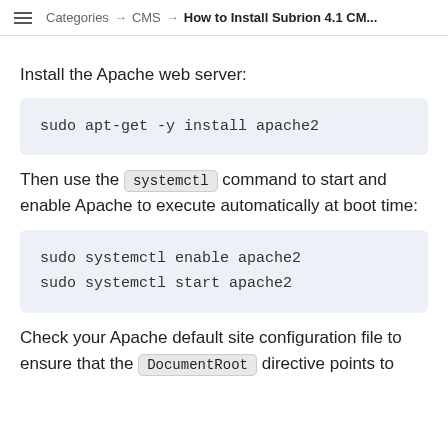Categories → CMS → How to Install Subrion 4.1 CM...
Install the Apache web server:
sudo apt-get -y install apache2
Then use the systemctl command to start and enable Apache to execute automatically at boot time:
sudo systemctl enable apache2
sudo systemctl start apache2
Check your Apache default site configuration file to ensure that the DocumentRoot directive points to